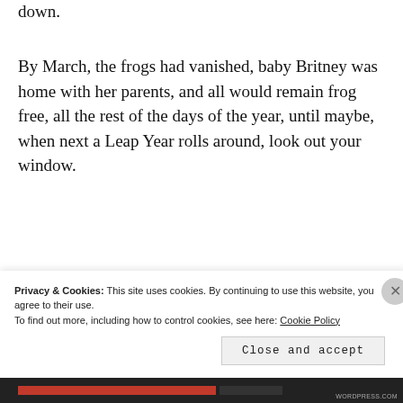down.
By March, the frogs had vanished, baby Britney was home with her parents, and all would remain frog free, all the rest of the days of the year, until maybe, when next a Leap Year rolls around, look out your window.
In and out, like a lamb, lion, frogs and their friend.
Privacy & Cookies: This site uses cookies. By continuing to use this website, you agree to their use.
To find out more, including how to control cookies, see here: Cookie Policy
Close and accept